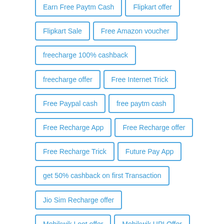Earn Free Paytm Cash
Flipkart offer
Flipkart Sale
Free Amazon voucher
freecharge 100% cashback
freecharge offer
Free Internet Trick
Free Paypal cash
free paytm cash
Free Recharge App
Free Recharge offer
Free Recharge Trick
Future Pay App
get 50% cashback on first Transaction
Jio Sim Recharge offer
Mobikwik Loot offer
Mobikwik UPI Offer
My airtel app offer
Niki App offer
Paytm